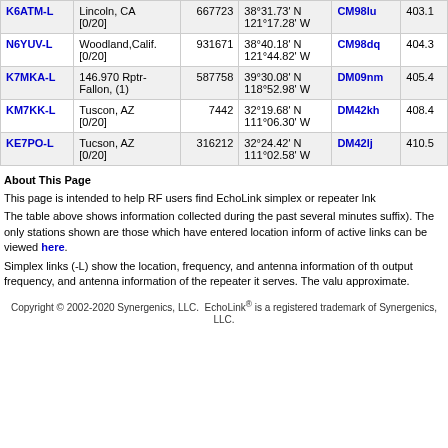| Callsign | Location | Node# | Coordinates | Grid | Dist |
| --- | --- | --- | --- | --- | --- |
| K6ATM-L | Lincoln, CA [0/20] | 667723 | 38°31.73' N 121°17.28' W | CM98lu | 403.1 |
| N6YUV-L | Woodland, Calif. [0/20] | 931671 | 38°40.18' N 121°44.82' W | CM98dq | 404.3 |
| K7MKA-L | 146.970 Rptr-Fallon, (1) | 587758 | 39°30.08' N 118°52.98' W | DM09nm | 405.4 |
| KM7KK-L | Tuscon, AZ [0/20] | 7442 | 32°19.68' N 111°06.30' W | DM42kh | 408.4 |
| KE7PO-L | Tucson, AZ [0/20] | 316212 | 32°24.42' N 111°02.58' W | DM42lj | 410.5 |
About This Page
This page is intended to help RF users find EchoLink simplex or repeater lnk
The table above shows information collected during the past several minutes suffix). The only stations shown are those which have entered location inform of active links can be viewed here.
Simplex links (-L) show the location, frequency, and antenna information of th output frequency, and antenna information of the repeater it serves. The valu approximate.
Copyright © 2002-2020 Synergenics, LLC.  EchoLink® is a registered trademark of Synergenics, LLC.